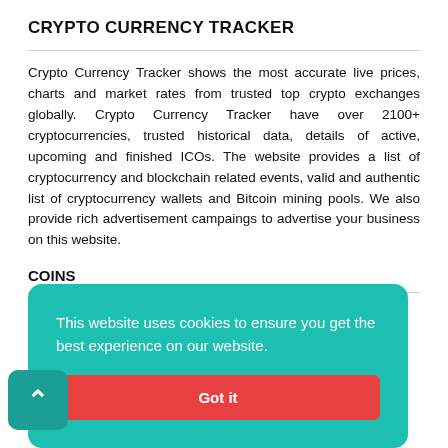CRYPTO CURRENCY TRACKER
Crypto Currency Tracker shows the most accurate live prices, charts and market rates from trusted top crypto exchanges globally. Crypto Currency Tracker have over 2100+ cryptocurrencies, trusted historical data, details of active, upcoming and finished ICOs. The website provides a list of cryptocurrency and blockchain related events, valid and authentic list of cryptocurrency wallets and Bitcoin mining pools. We also provide rich advertisement campaings to advertise your business on this website.
COINS
Coins Live Watch
Top Gainers
This website uses cookies to ensure you get the best experience on our website.
Got it